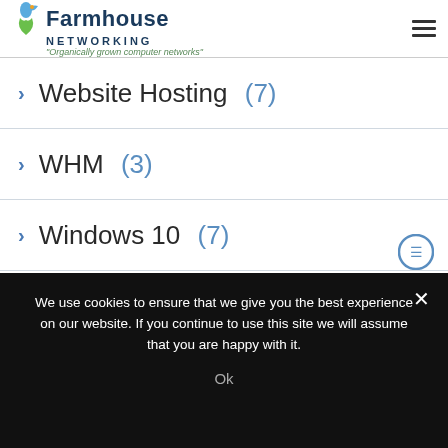Farmhouse Networking - Organically grown computer networks
Website Hosting (7)
WHM (3)
Windows 10 (7)
Windows Phone (4)
Windows Server Backup (1)
Wireless (9)
We use cookies to ensure that we give you the best experience on our website. If you continue to use this site we will assume that you are happy with it.